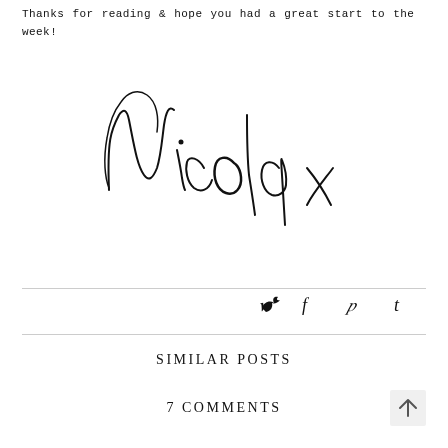Thanks for reading & hope you had a great start to the week!
[Figure (illustration): Handwritten cursive signature reading 'Nicola x']
[Figure (infographic): Social media share icons: Twitter bird, Facebook f, Pinterest p, Tumblr t]
SIMILAR POSTS
7 COMMENTS